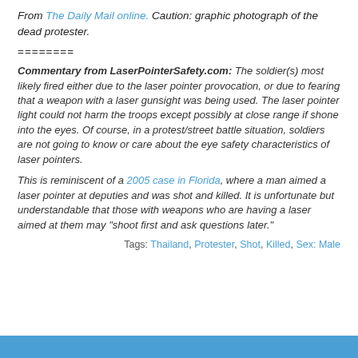From The Daily Mail online. Caution: graphic photograph of the dead protester.
========
Commentary from LaserPointerSafety.com: The soldier(s) most likely fired either due to the laser pointer provocation, or due to fearing that a weapon with a laser gunsight was being used. The laser pointer light could not harm the troops except possibly at close range if shone into the eyes. Of course, in a protest/street battle situation, soldiers are not going to know or care about the eye safety characteristics of laser pointers.
This is reminiscent of a 2005 case in Florida, where a man aimed a laser pointer at deputies and was shot and killed. It is unfortunate but understandable that those with weapons who are having a laser aimed at them may "shoot first and ask questions later."
Tags: Thailand, Protester, Shot, Killed, Sex: Male